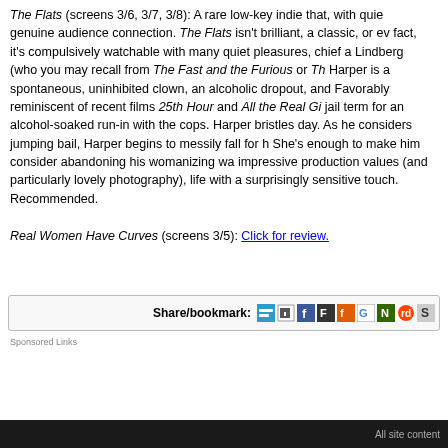The Flats (screens 3/6, 3/7, 3/8): A rare low-key indie that, with quiet genuine audience connection. The Flats isn't brilliant, a classic, or even fact, it's compulsively watchable with many quiet pleasures, chief among Lindberg (who you may recall from The Fast and the Furious or The Harper is a spontaneous, uninhibited clown, an alcoholic dropout, and Favorably reminiscent of recent films 25th Hour and All the Real Gi jail term for an alcohol-soaked run-in with the cops. Harper bristles day. As he considers jumping bail, Harper begins to messily fall for She's enough to make him consider abandoning his womanizing wa impressive production values (and particularly lovely photography), life with a surprisingly sensitive touch. Recommended.
Real Women Have Curves (screens 3/5): Click for review.
Share/bookmark:
Sponsored Links
All site content